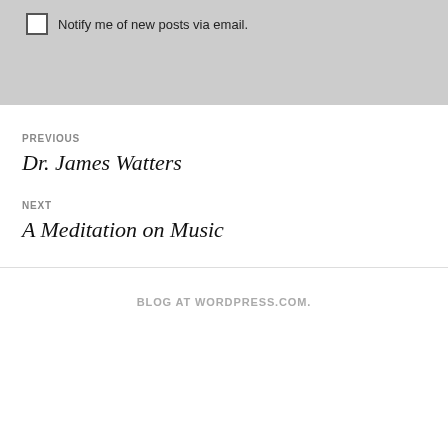Notify me of new posts via email.
PREVIOUS
Dr. James Watters
NEXT
A Meditation on Music
BLOG AT WORDPRESS.COM.